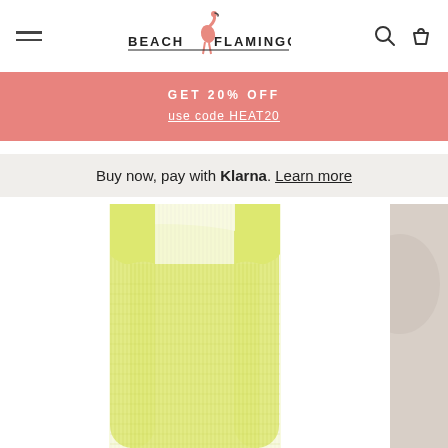BEACH FLAMINGO — navigation header with hamburger menu, logo, search and cart icons
GET 20% OFF
use code HEAT20
Buy now, pay with Klarna. Learn more
[Figure (photo): Yellow ribbed knit tank top on white background, product photo]